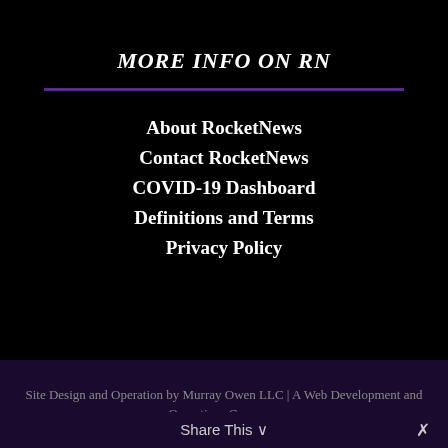MORE INFO ON RN
About RocketNews
Contact RocketNews
COVID-19 Dashboard
Definitions and Terms
Privacy Policy
Site Design and Operation by Murray Owen LLC | A Web Development and Operations Company
Share This ✓ ×